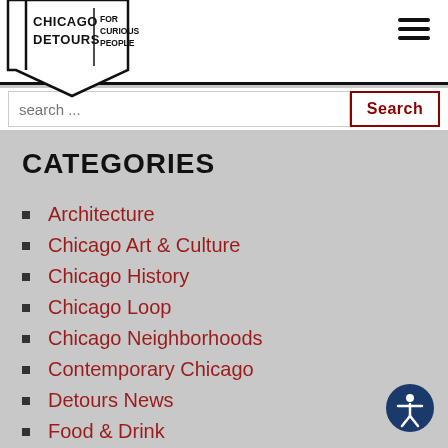[Figure (logo): Chicago Detours logo — arrow/banner shape with text 'CHICAGO DETOURS | FOR CURIOUS PEOPLE']
[Figure (other): Hamburger menu icon (three horizontal lines)]
[Figure (other): Search bar with placeholder 'search...' and red-bordered Search button]
CATEGORIES
Architecture
Chicago Art & Culture
Chicago History
Chicago Loop
Chicago Neighborhoods
Contemporary Chicago
Detours News
Food & Drink
Travel & Events Industry
Virtual Tours
[Figure (other): Accessibility icon — blue circle with white human figure]